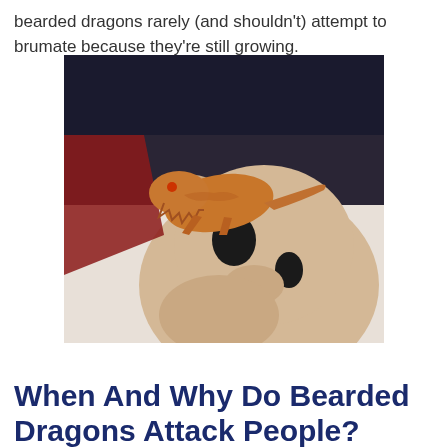bearded dragons rarely (and shouldn't) attempt to brumate because they're still growing.
[Figure (photo): A bearded dragon lizard sitting on top of a stuffed animal (teddy bear) against a blurred background]
When And Why Do Bearded Dragons Attack People?